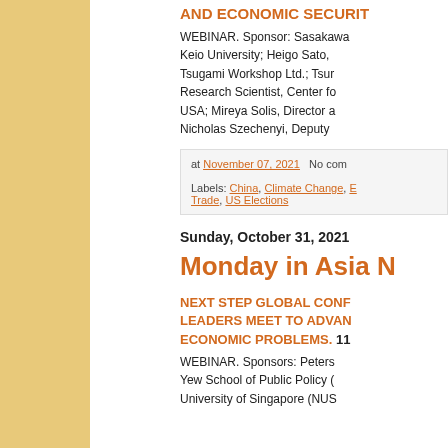AND ECONOMIC SECURITY
WEBINAR. Sponsor: Sasakawa Keio University; Heigo Sato, Tsugami Workshop Ltd.; Tsugami Research Scientist, Center for USA; Mireya Solis, Director a Nicholas Szechenyi, Deputy
at November 07, 2021   No comments
Labels: China, Climate Change, E Trade, US Elections
Sunday, October 31, 2021
Monday in Asia N
NEXT STEP GLOBAL CONFERENCE: GLOBAL LEADERS MEET TO ADVANCE SOLUTIONS TO ECONOMIC PROBLEMS. 11
WEBINAR. Sponsors: Peterson Institute; Lee Yew School of Public Policy (LKYSPP), National University of Singapore (NUS)